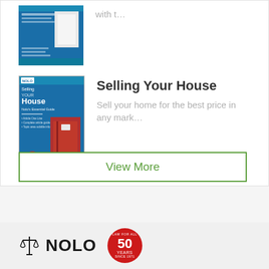[Figure (illustration): Book cover partially visible at top of the main card area]
with t…
[Figure (illustration): Book cover for 'Selling Your House' by Nolo, featuring a red door on blue background with a 50 years badge]
Selling Your House
Sell your home for the best price in any mark…
View More
[Figure (logo): Nolo logo with scales of justice icon and NOLO text, alongside a red 50 Years anniversary badge]